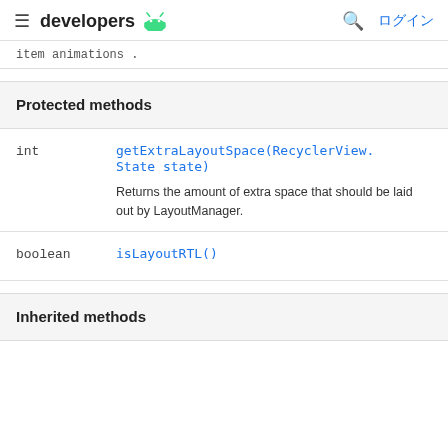≡ developers 🤖  🔍 ログイン
item animations .
Protected methods
| Type | Method |
| --- | --- |
| int | getExtraLayoutSpace(RecyclerView.State state)
Returns the amount of extra space that should be laid out by LayoutManager. |
| boolean | isLayoutRTL() |
Inherited methods